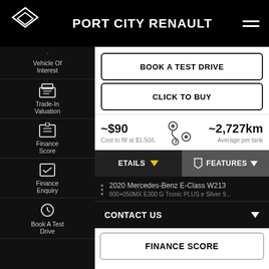[Figure (screenshot): Port City Renault dealership website screenshot showing navigation header with Renault logo, sidebar menu with Vehicle Of Interest, Trade-In Valuation, Finance Score, Finance Enquiry, Book A Test Drive options, and main content area with Book A Test Drive button, Click To Buy button, fuel cost (~$90) and range (~2,727km) stats, Details and Features tabs, vehicle listing for 2020 Mercedes-Benz E-Class W213, Contact Us bar, and Finance Score button.]